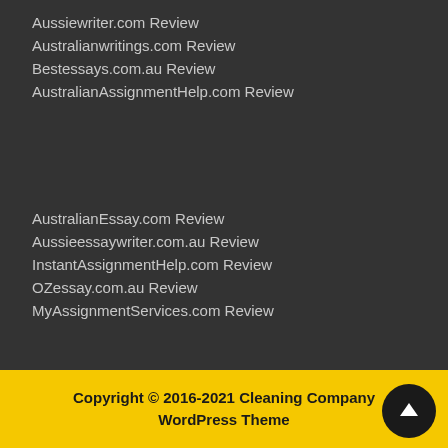Aussiewriter.com Review
Australianwritings.com Review
Bestessays.com.au Review
AustralianAssignmentHelp.com Review
AustralianEssay.com Review
Aussieessaywriter.com.au Review
InstantAssignmentHelp.com Review
OZessay.com.au Review
MyAssignmentServices.com Review
Copyright © 2016-2021 Cleaning Company WordPress Theme